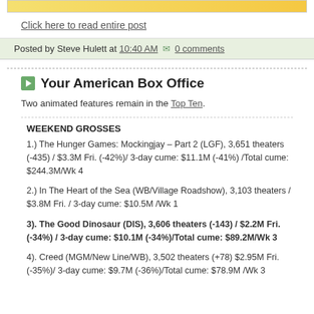Click here to read entire post
Posted by Steve Hulett at 10:40 AM  0 comments
Your American Box Office
Two animated features remain in the Top Ten.
WEEKEND GROSSES
1.) The Hunger Games: Mockingjay – Part 2 (LGF), 3,651 theaters (-435) / $3.3M Fri. (-42%)/ 3-day cume: $11.1M (-41%) /Total cume: $244.3M/Wk 4
2.) In The Heart of the Sea (WB/Village Roadshow), 3,103 theaters / $3.8M Fri. / 3-day cume: $10.5M /Wk 1
3). The Good Dinosaur (DIS), 3,606 theaters (-143) / $2.2M Fri. (-34%) / 3-day cume: $10.1M (-34%)/Total cume: $89.2M/Wk 3
4). Creed (MGM/New Line/WB), 3,502 theaters (+78) $2.95M Fri. (-35%)/ 3-day cume: $9.7M (-36%)/Total cume: $78.9M /Wk 3